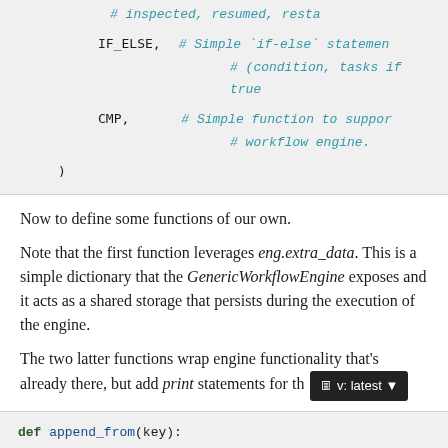# inspected, resumed, resta
    IF_ELSE,    # Simple `if-else` statemen
                # (condition, tasks if true
    CMP,        # Simple function to suppor
                # workflow engine.
)
Now to define some functions of our own.
Note that the first function leverages eng.extra_data. This is a simple dictionary that the GenericWorkflowEngine exposes and it acts as a shared storage that persists during the execution of the engine.
The two latter functions wrap engine functionality that’s already there, but add print statements for th
def append_from(key):
    """Append data from a given `key` o